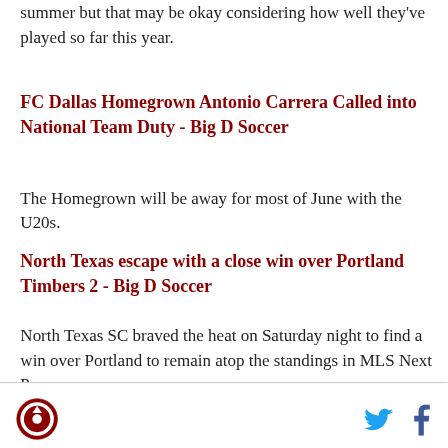summer but that may be okay considering how well they've played so far this year.
FC Dallas Homegrown Antonio Carrera Called into National Team Duty - Big D Soccer
The Homegrown will be away for most of June with the U20s.
North Texas escape with a close win over Portland Timbers 2 - Big D Soccer
North Texas SC braved the heat on Saturday night to find a win over Portland to remain atop the standings in MLS Next Pro.
Paul Arriola feels good about his USMNT World
[Figure (logo): Big D Soccer circular logo with arrow icon]
[Figure (logo): Twitter bird icon in cyan]
[Figure (logo): Facebook f icon in dark blue]